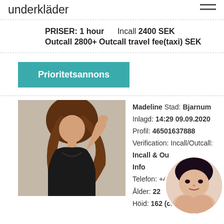underkläder
PRISER: 1 hour   Incall 2400 SEK
Outcall 2800+ Outcall travel fee(taxi) SEK
Prioritetsannons
[Figure (photo): Profile photo of a woman with long brown hair in black leather outfit]
Madeline Stad: Bjarnum
Inlagd: 14:29 09.09.2020
Profil: 46501637888
Verification: Incall/Outcall:
Incall & Outcall
Info
Telefon: +4...
Ålder: 22
Höid: 162 (cm)
[Figure (photo): Circular avatar photo of a dark-haired woman]